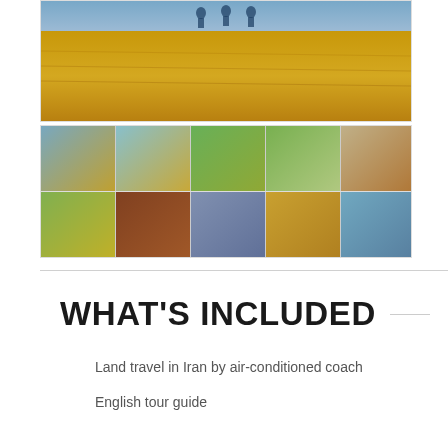[Figure (photo): Main large photo showing hikers walking through a golden dry grass field landscape]
[Figure (photo): Grid of 10 thumbnail travel photos showing Iranian landscapes, mountains, valleys, and people hiking]
WHAT'S INCLUDED
Land travel in Iran by air-conditioned coach
English tour guide